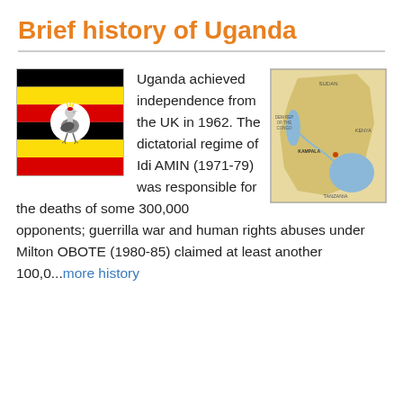Brief history of Uganda
[Figure (illustration): Flag of Uganda: horizontal stripes black, yellow, red repeated twice with a grey crowned crane in a white circle at center]
[Figure (map): Map of Uganda showing neighboring countries Sudan, DEM REP OF THE CONGO, Kenya, Tanzania, with Lake Victoria and capital Kampala marked]
Uganda achieved independence from the UK in 1962. The dictatorial regime of Idi AMIN (1971-79) was responsible for the deaths of some 300,000 opponents; guerrilla war and human rights abuses under Milton OBOTE (1980-85) claimed at least another 100,0...more history